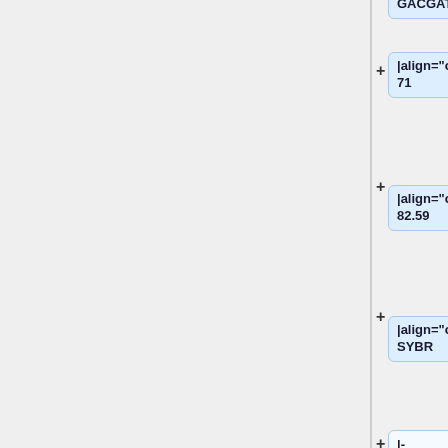GACGATATT
|align="center"|
71
|align="center"|
82.59
|align="center"|
SYBR
|-
|align="center"|
MIR172<ref name="ref3"/>
|align="center"|
MIR172
|
* Leaves
* Drought, salt, heavy metal